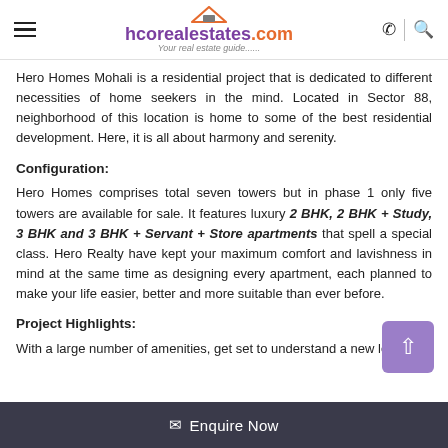hcorealestates.com — Your real estate guide......
Hero Homes Mohali is a residential project that is dedicated to different necessities of home seekers in the mind. Located in Sector 88, neighborhood of this location is home to some of the best residential development. Here, it is all about harmony and serenity.
Configuration:
Hero Homes comprises total seven towers but in phase 1 only five towers are available for sale. It features luxury 2 BHK, 2 BHK + Study, 3 BHK and 3 BHK + Servant + Store apartments that spell a special class. Hero Realty have kept your maximum comfort and lavishness in mind at the same time as designing every apartment, each planned to make your life easier, better and more suitable than ever before.
Project Highlights:
With a large number of amenities, get set to understand a new level
Enquire Now